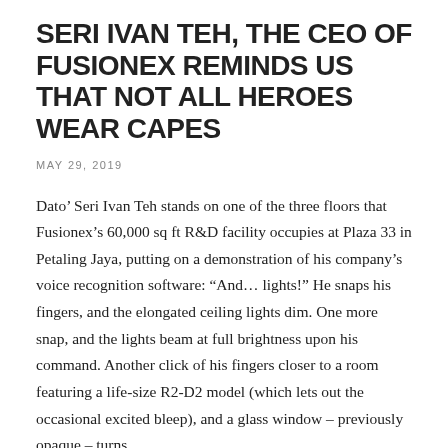SERI IVAN TEH, THE CEO OF FUSIONEX REMINDS US THAT NOT ALL HEROES WEAR CAPES
MAY 29, 2019
Dato’ Seri Ivan Teh stands on one of the three floors that Fusionex’s 60,000 sq ft R&D facility occupies at Plaza 33 in Petaling Jaya, putting on a demonstration of his company’s voice recognition software: “And… lights!” He snaps his fingers, and the elongated ceiling lights dim. One more snap, and the lights beam at full brightness upon his command. Another click of his fingers closer to a room featuring a life-size R2-D2 model (which lets out the occasional excited bleep), and a glass window – previously opaque – turns